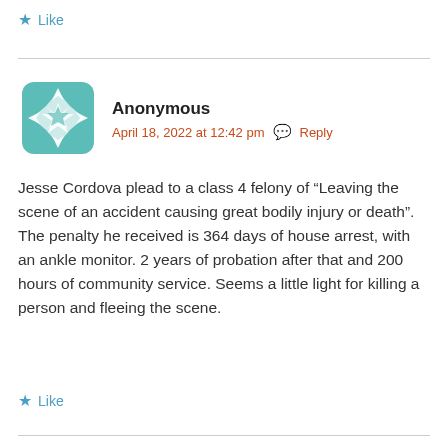Like
[Figure (illustration): Teal decorative avatar icon with geometric cross/star pattern]
Anonymous
April 18, 2022 at 12:42 pm  Reply
Jesse Cordova plead to a class 4 felony of "Leaving the scene of an accident causing great bodily injury or death". The penalty he received is 364 days of house arrest, with an ankle monitor. 2 years of probation after that and 200 hours of community service. Seems a little light for killing a person and fleeing the scene.
Like